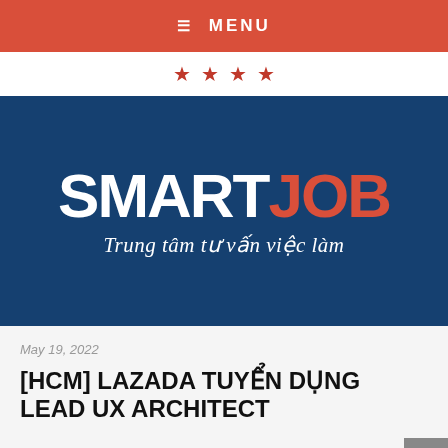≡ MENU
[Figure (logo): SmartJob logo with stars: four red stars row, then dark blue band with SMART in white and JOB in red bold text, tagline 'Trung tâm tư vấn việc làm' in white italic]
May 19, 2022
[HCM] LAZADA TUYỂN DỤNG LEAD UX ARCHITECT